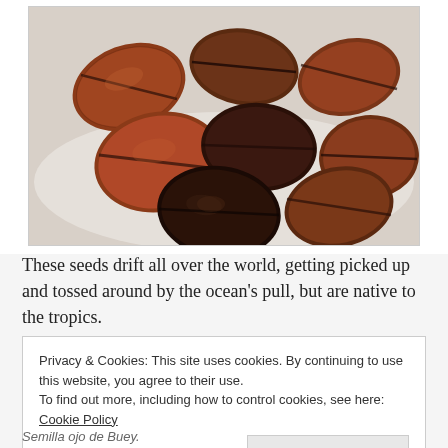[Figure (photo): A cluster of dark brown and reddish-brown oval seeds with dark stripe markings, piled together on a light background. The seeds appear to be Entada or similar tropical drift seeds.]
These seeds drift all over the world, getting picked up and tossed around by the ocean's pull, but are native to the tropics.
Privacy & Cookies: This site uses cookies. By continuing to use this website, you agree to their use.
To find out more, including how to control cookies, see here: Cookie Policy
[Close and accept button]
Semilla ojo de Buey.